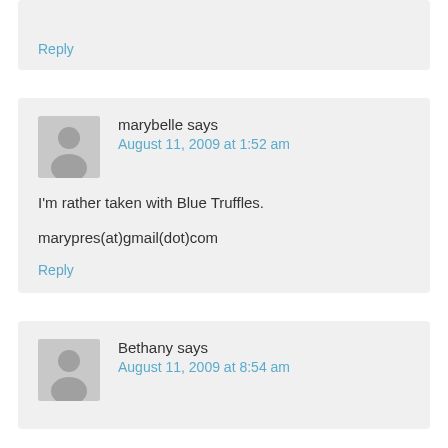Reply
marybelle says
August 11, 2009 at 1:52 am
I'm rather taken with Blue Truffles.

marypres(at)gmail(dot)com
Reply
Bethany says
August 11, 2009 at 8:54 am